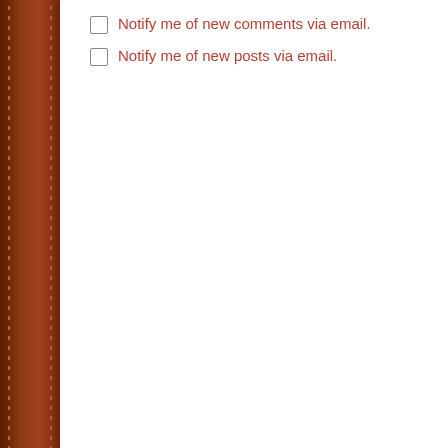Notify me of new comments via email.
Notify me of new posts via email.